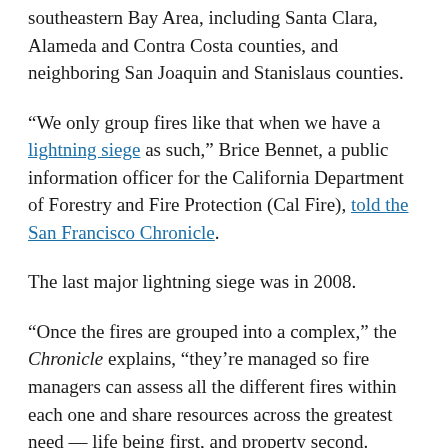southeastern Bay Area, including Santa Clara, Alameda and Contra Costa counties, and neighboring San Joaquin and Stanislaus counties.
“We only group fires like that when we have a lightning siege as such,” Brice Bennet, a public information officer for the California Department of Forestry and Fire Protection (Cal Fire), told the San Francisco Chronicle.
The last major lightning siege was in 2008.
“Once the fires are grouped into a complex,” the Chronicle explains, “they’re managed so fire managers can assess all the different fires within each one and share resources across the greatest need — life being first, and property second. That’s where the prefixes come in. Those monikers are geographical locators based on Cal Fire administrative unit codes.”
Ruiz explained that many of the fires since 2015 were caused